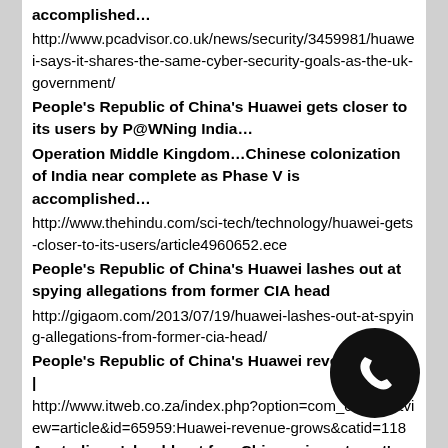accomplished…
http://www.pcadvisor.co.uk/news/security/3459981/huawei-says-it-shares-the-same-cyber-security-goals-as-the-uk-government/
People's Republic of China's Huawei gets closer to its users by P@WNing India…
Operation Middle Kingdom…Chinese colonization of India near complete as Phase V is accomplished…
http://www.thehindu.com/sci-tech/technology/huawei-gets-closer-to-its-users/article4960652.ece
People's Republic of China's Huawei lashes out at spying allegations from former CIA head
http://gigaom.com/2013/07/19/huawei-lashes-out-at-spying-allegations-from-former-cia-head/
People's Republic of China's Huawei revenue grows | http://www.itweb.co.za/index.php?option=com_content&view=article&id=65959:Huawei-revenue-grows&catid=118
Australians 'should not fear Chinese investment' especially People's Republic of Huawei, says Bob Carr
http://www.scmp.com/news/hong-